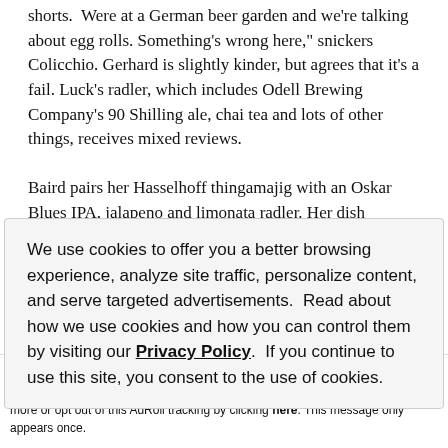shorts.  Were at a German beer garden and we're talking about egg rolls. Something's wrong here," snickers Colicchio. Gerhard is slightly kinder, but agrees that it's a fail. Luck's radler, which includes Odell Brewing Company's 90 Shilling ale, chai tea and lots of other things, receives mixed reviews.

Baird pairs her Hasselhoff thingamajig with an Oskar Blues IPA, jalapeno and limonata radler. Her dish
We use cookies to offer you a better browsing experience, analyze site traffic, personalize content, and serve targeted advertisements.  Read about how we use cookies and how you can control them by visiting our Privacy Policy.  If you continue to use this site, you consent to the use of cookies.
Accept and Close
✕ Your browser settings do not allow cross-site tracking for advertising. Click on this page to allow AdRoll to use cross-site tracking to tailor ads to you. Learn more or opt out of this AdRoll tracking by clicking here. This message only appears once.